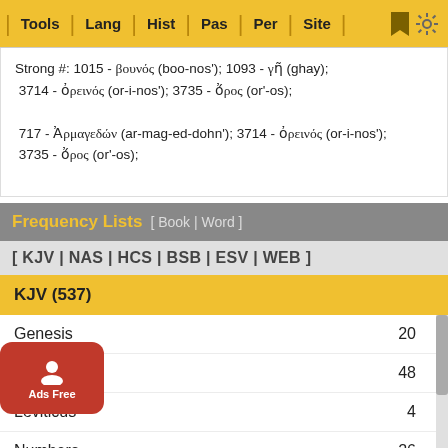Tools | Lang | Hist | Pas | Per | Site
Strong #: 1015 - βουνός (boo-nos');  1093 - γῆ (ghay);
 3714 - ὀρεινός (or-i-nos');  3735 - ὄρος (or'-os);
 717 - Ἀρμαγεδών (ar-mag-ed-dohn');  3714 - ὀρεινός (or-i-nos');
 3735 - ὄρος (or'-os);
Frequency Lists  [ Book | Word ]
[ KJV | NAS | HCS | BSB | ESV | WEB ]
KJV (537)
| Book | Count |
| --- | --- |
| Genesis | 20 |
| Exodus | 48 |
| Leviticus | 4 |
| Numbers | 26 |
| Deuteronomy | 49 |
| Joshua | 52 |